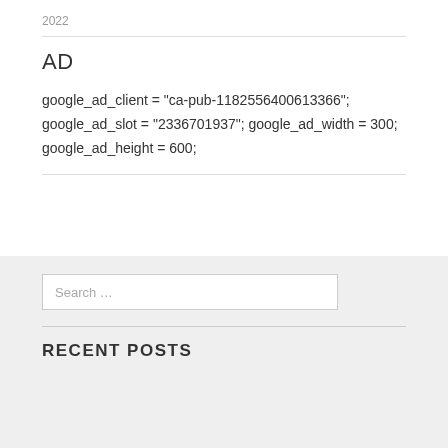2022
AD
google_ad_client = "ca-pub-1182556400613366"; google_ad_slot = "2336701937"; google_ad_width = 300; google_ad_height = 600;
Search …
RECENT POSTS